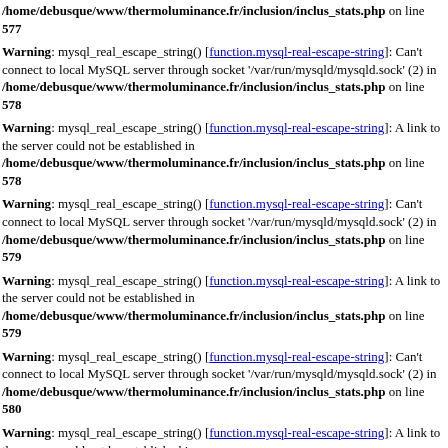/home/debusque/www/thermoluminance.fr/inclusion/inclus_stats.php on line 577
Warning: mysql_real_escape_string() [function.mysql-real-escape-string]: Can't connect to local MySQL server through socket '/var/run/mysqld/mysqld.sock' (2) in /home/debusque/www/thermoluminance.fr/inclusion/inclus_stats.php on line 578
Warning: mysql_real_escape_string() [function.mysql-real-escape-string]: A link to the server could not be established in /home/debusque/www/thermoluminance.fr/inclusion/inclus_stats.php on line 578
Warning: mysql_real_escape_string() [function.mysql-real-escape-string]: Can't connect to local MySQL server through socket '/var/run/mysqld/mysqld.sock' (2) in /home/debusque/www/thermoluminance.fr/inclusion/inclus_stats.php on line 579
Warning: mysql_real_escape_string() [function.mysql-real-escape-string]: A link to the server could not be established in /home/debusque/www/thermoluminance.fr/inclusion/inclus_stats.php on line 579
Warning: mysql_real_escape_string() [function.mysql-real-escape-string]: Can't connect to local MySQL server through socket '/var/run/mysqld/mysqld.sock' (2) in /home/debusque/www/thermoluminance.fr/inclusion/inclus_stats.php on line 580
Warning: mysql_real_escape_string() [function.mysql-real-escape-string]: A link to the server could not be established in /home/debusque/www/thermoluminance.fr/inclusion/inclus_stats.php on line 580
Warning: mysql_real_escape_string() [function.mysql-real-escape-string]: Can't connect to local MySQL server through socket '/var/run/mysqld/mysqld.sock' (2) in /home/debusque/www/thermoluminance.fr/inclusion/inclus_stats.php on line 581